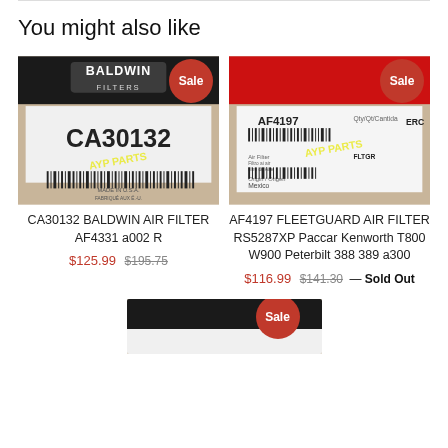You might also like
[Figure (photo): Baldwin CA30132 air filter product photo with Sale badge]
CA30132 BALDWIN AIR FILTER AF4331 a002 R
$125.99 $195.75
[Figure (photo): Fleetguard AF4197 air filter product photo with Sale badge]
AF4197 FLEETGUARD AIR FILTER RS5287XP Paccar Kenworth T800 W900 Peterbilt 388 389 a300
$116.99 $141.30 — Sold Out
[Figure (photo): Third product partially visible at bottom with Sale badge]